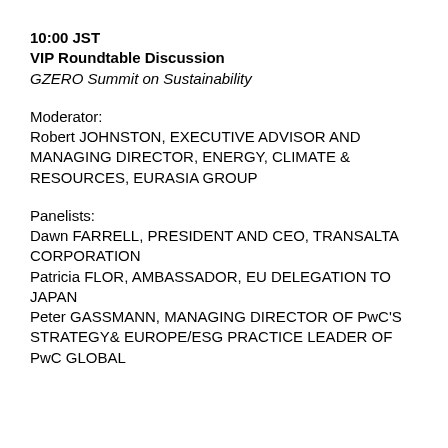10:00 JST
VIP Roundtable Discussion
GZERO Summit on Sustainability
Moderator:
Robert JOHNSTON, EXECUTIVE ADVISOR AND MANAGING DIRECTOR, ENERGY, CLIMATE & RESOURCES, EURASIA GROUP
Panelists:
Dawn FARRELL, PRESIDENT AND CEO, TRANSALTA CORPORATION
Patricia FLOR, AMBASSADOR, EU DELEGATION TO JAPAN
Peter GASSMANN, MANAGING DIRECTOR OF PwC'S STRATEGY& EUROPE/ESG PRACTICE LEADER OF PwC GLOBAL